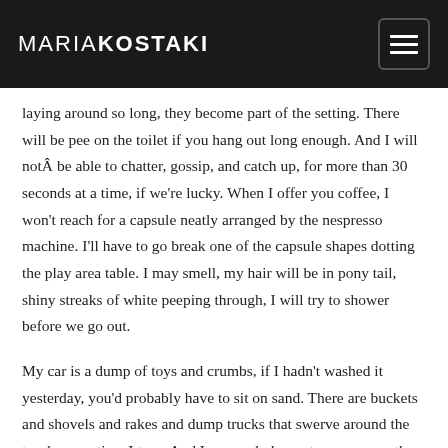MARIAKOSTAKI
laying around so long, they become part of the setting. There will be pee on the toilet if you hang out long enough. And I will notÂ be able to chatter, gossip, and catch up, for more than 30 seconds at a time, if we're lucky. When I offer you coffee, I won't reach for a capsule neatly arranged by the nespresso machine. I'll have to go break one of the capsule shapes dotting the play area table. I may smell, my hair will be in pony tail, shiny streaks of white peeping through, I will try to shower before we go out.
My car is a dump of toys and crumbs, if I hadn't washed it yesterday, you'd probably have to sit on sand. There are buckets and shovels and rakes and dump trucks that swerve around the trunk every time I turn. And I may only know two songs on the radio. I'll take us to a restaurant that